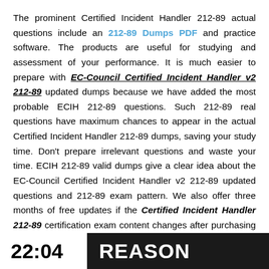The prominent Certified Incident Handler 212-89 actual questions include an 212-89 Dumps PDF and practice software. The products are useful for studying and assessment of your performance. It is much easier to prepare with EC-Council Certified Incident Handler v2 212-89 updated dumps because we have added the most probable ECIH 212-89 questions. Such 212-89 real questions have maximum chances to appear in the actual Certified Incident Handler 212-89 dumps, saving your study time. Don't prepare irrelevant questions and waste your time. ECIH 212-89 valid dumps give a clear idea about the EC-Council Certified Incident Handler v2 212-89 updated questions and 212-89 exam pattern. We also offer three months of free updates if the Certified Incident Handler 212-89 certification exam content changes after purchasing our products.
22:04  REASON